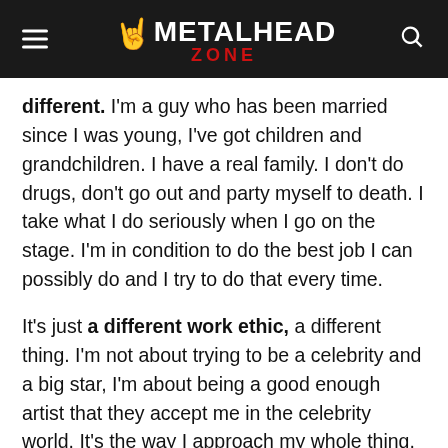METALHEAD ZONE
different. I'm a guy who has been married since I was young, I've got children and grandchildren. I have a real family. I don't do drugs, don't go out and party myself to death. I take what I do seriously when I go on the stage. I'm in condition to do the best job I can possibly do and I try to do that every time.
It's just a different work ethic, a different thing. I'm not about trying to be a celebrity and a big star, I'm about being a good enough artist that they accept me in the celebrity world. It's the way I approach my whole thing. He does it all